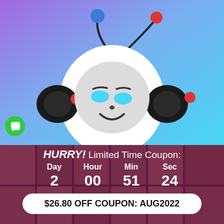[Figure (illustration): Cartoon panda robot mascot with antennas (blue ball on left, red ball on right), cyan glowing eyes, smiling face, black ears/arms, against a purple-to-cyan gradient background. A green chat bubble icon is in the lower left corner.]
HURRY! Limited Time Coupon:
Day  Hour  Min  Sec
2  00  51  24
$26.80 OFF COUPON: AUG2022